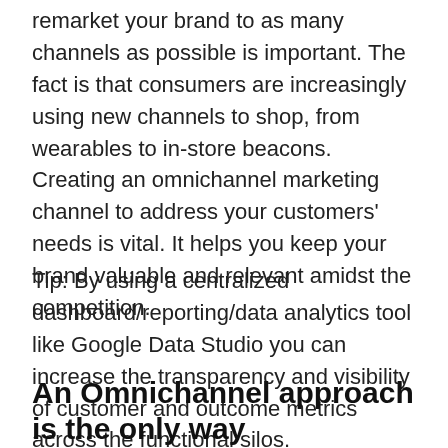remarket your brand to as many channels as possible is important. The fact is that consumers are increasingly using new channels to shop, from wearables to in-store beacons. Creating an omnichannel marketing channel to address your customers' needs is vital. It helps you keep your brand valuable and relevant amidst the competition.
Tip: By using a centralized dashboard/reporting/data analytics tool like Google Data Studio you can increase the transparency and visibility of customer and outcome metrics across the functional silos.
An Omnichannel approach is the only way